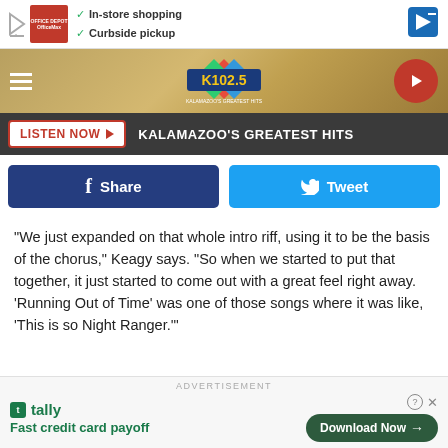[Figure (screenshot): Ad banner for Office Depot with checkmarks for In-store shopping and Curbside pickup]
[Figure (screenshot): K102.5 radio station navigation bar with hamburger menu, K102.5 logo, and play button]
[Figure (screenshot): LISTEN NOW button bar with text KALAMAZOO'S GREATEST HITS]
[Figure (screenshot): Facebook Share and Twitter Tweet social buttons]
“We just expanded on that whole intro riff, using it to be the basis of the chorus,” Keagy says. “So when we started to put that together, it just started to come out with a great feel right away. ‘Running Out of Time’ was one of those songs where it was like, ‘This is so Night Ranger.’”
[Figure (screenshot): Tally advertisement: Fast credit card payoff with Download Now button]